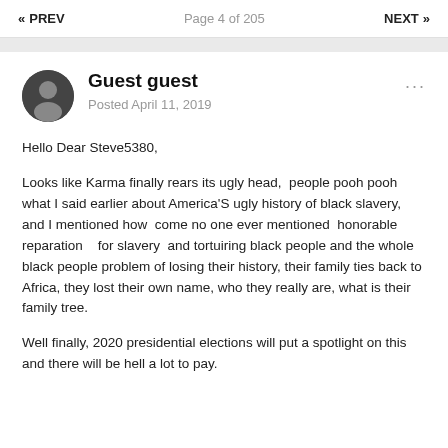« PREV   Page 4 of 205   NEXT »
Guest guest
Posted April 11, 2019
Hello Dear Steve5380,
Looks like Karma finally rears its ugly head,  people pooh pooh what I said earlier about America'S ugly history of black slavery, and I mentioned how  come no one ever mentioned  honorable reparation   for slavery  and tortuiring black people and the whole black people problem of losing their history, their family ties back to Africa, they lost their own name, who they really are, what is their family tree.
Well finally, 2020 presidential elections will put a spotlight on this and there will be hell a lot to pay.